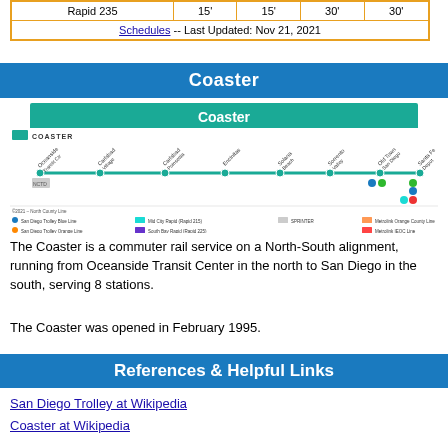| Rapid 235 | 15' | 15' | 30' | 30' |
| Schedules -- Last Updated: Nov 21, 2021 |
Coaster
Coaster
[Figure (map): COASTER commuter rail line map showing stations from Oceanside Transit Center in the north to Santa Fe Depot (San Diego) in the south, with connection icons at various stations. Legend shows San Diego Trolley Blue Line, Orange Line, Green Line, Mid-City Rapid, South Bay Rapid, I-8 Rapid, SPRINTER, Metrolink Orange County Line, Metrolink IEOC Line.]
The Coaster is a commuter rail service on a North-South alignment, running from Oceanside Transit Center in the north to San Diego in the south, serving 8 stations.
The Coaster was opened in February 1995.
References & Helpful Links
San Diego Trolley at Wikipedia
Coaster at Wikipedia